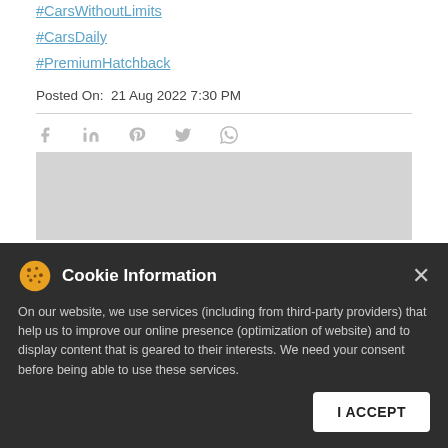#CarsWithoutLimits
#CarsDaily
#PremiumHatchback
Posted On: 21 Aug 2022 7:30 PM
[Figure (other): Social share icons: Facebook, LinkedIn, Pinterest, Twitter, WhatsApp]
[Figure (other): Grey banner/advertisement placeholder area]
Cookie Information
On our website, we use services (including from third-party providers) that help us to improve our online presence (optimization of website) and to display content that is geared to their interests. We need your consent before being able to use these services.